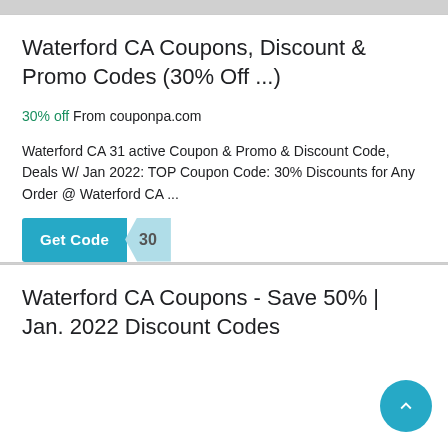Waterford CA Coupons, Discount & Promo Codes (30% Off ...)
30% off From couponpa.com
Waterford CA 31 active Coupon & Promo & Discount Code, Deals W/ Jan 2022: TOP Coupon Code: 30% Discounts for Any Order @ Waterford CA ...
[Figure (other): Get Code button with teal background and a partially visible code tab showing '30']
Waterford CA Coupons - Save 50% | Jan. 2022 Discount Codes